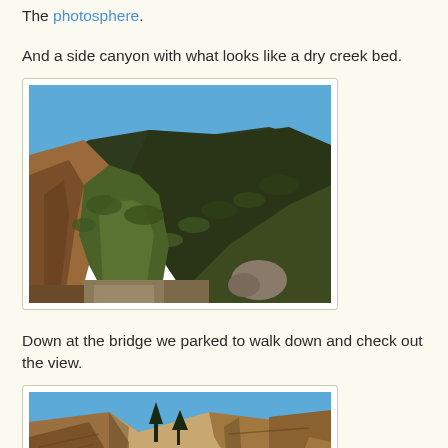The photosphere.
And a side canyon with what looks like a dry creek bed.
[Figure (photo): Photo of a side canyon with green shrubs and vegetation on slopes, dry creek bed visible at bottom, brown rocky cliff walls, clear blue sky]
Down at the bridge we parked to walk down and check out the view.
[Figure (photo): Photo of a canyon view from a bridge, showing brown layered canyon walls and blue sky, road visible at bottom]